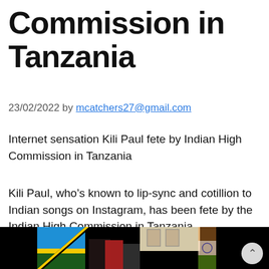Commission in Tanzania
23/02/2022 by mcatchers27@gmail.com
Internet sensation Kili Paul fete by Indian High Commission in Tanzania
Kili Paul, who’s known to lip-sync and cotillion to Indian songs on Instagram, has been fete by the Indian High Commission in Tanzania.
[Figure (photo): Photo of Kili Paul with an Indian official, Tanzanian flag and Indian flag in background, with framed portraits on the wall behind them.]